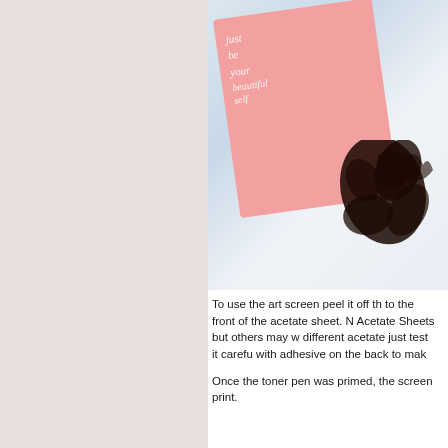[Figure (photo): A pink card with white script text partially visible, and dark ink/toner marks on the right side, placed on a light blue-white surface. The image is cropped showing the right portion of the scene.]
To use the art screen peel it off th to the front of the acetate sheet. N Acetate Sheets but others may w different acetate just test it carefu with adhesive on the back to mak
Once the toner pen was primed, the screen print.